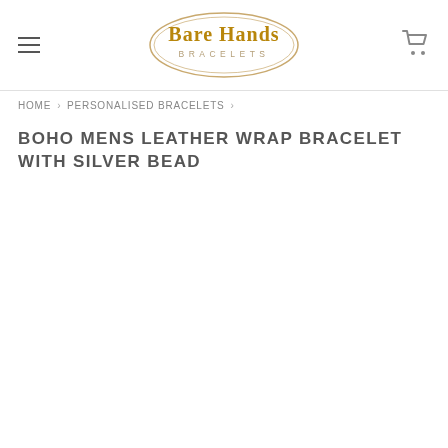Bare Hands Bracelets
HOME › PERSONALISED BRACELETS ›
BOHO MENS LEATHER WRAP BRACELET WITH SILVER BEAD